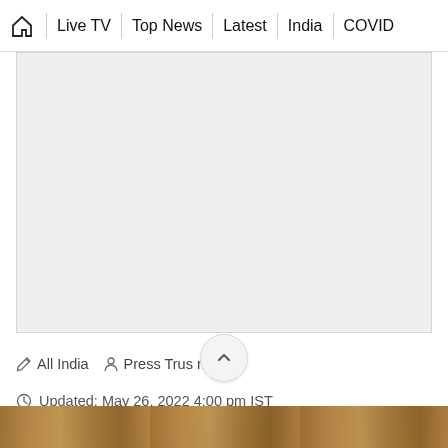🏠 | Live TV | Top News | Latest | India | COVID
[Figure (other): Gray placeholder box for media content]
✏ All India  👤 Press Trust of India
Updated: May 26, 2022 4:00 pm IST
[Figure (photo): Partial image visible at bottom of page]